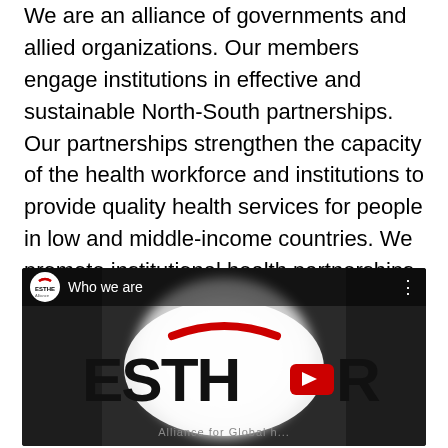We are an alliance of governments and allied organizations. Our members engage institutions in effective and sustainable North-South partnerships. Our partnerships strengthen the capacity of the health workforce and institutions to provide quality health services for people in low and middle-income countries. We promote institutional health partnerships through knowledge generation, sharing best practice, collaboration, and advocacy.
[Figure (screenshot): YouTube video thumbnail showing ESTHER logo with title 'Who we are'. The video features the ESTHER Alliance for Global Health Partnerships logo in black, white and red on a blurred greyscale background, with a YouTube play button overlay.]